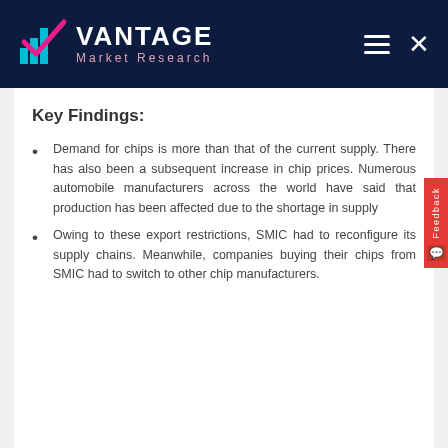Vantage Market Research
Key Findings:
Demand for chips is more than that of the current supply. There has also been a subsequent increase in chip prices. Numerous automobile manufacturers across the world have said that production has been affected due to the shortage in supply
Owing to these export restrictions, SMIC had to reconfigure its supply chains. Meanwhile, companies buying their chips from SMIC had to switch to other chip manufacturers.